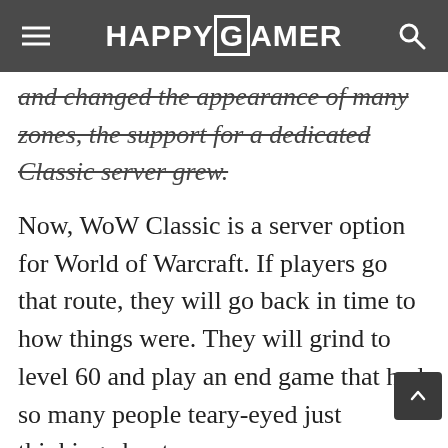HAPPYGAMER
and changed the appearance of many zones, the support for a dedicated Classic server grew.
Now, WoW Classic is a server option for World of Warcraft. If players go that route, they will go back in time to how things were. They will grind to level 60 and play an end game that had so many people teary-eyed just thinking about.
Since WoW Classic takes place before any expansion, it is missing a lot of content that is